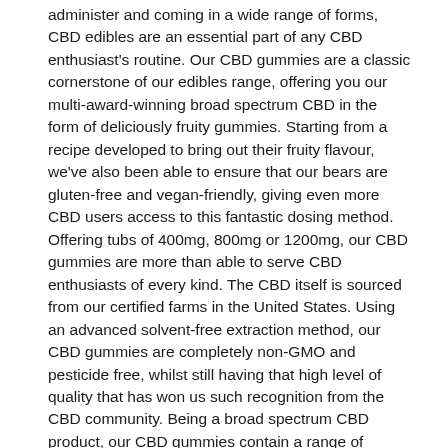administer and coming in a wide range of forms, CBD edibles are an essential part of any CBD enthusiast's routine. Our CBD gummies are a classic cornerstone of our edibles range, offering you our multi-award-winning broad spectrum CBD in the form of deliciously fruity gummies. Starting from a recipe developed to bring out their fruity flavour, we've also been able to ensure that our bears are gluten-free and vegan-friendly, giving even more CBD users access to this fantastic dosing method. Offering tubs of 400mg, 800mg or 1200mg, our CBD gummies are more than able to serve CBD enthusiasts of every kind. The CBD itself is sourced from our certified farms in the United States. Using an advanced solvent-free extraction method, our CBD gummies are completely non-GMO and pesticide free, whilst still having that high level of quality that has won us such recognition from the CBD community. Being a broad spectrum CBD product, our CBD gummies contain a range of naturally occurring cannabinoids to support the effects of the CBD. Notably these bears are entirely THC free, letting ensure that your CBD experience is as good as it can possibly be.Broad Spectrum CBD - 100% Vegan - Natural Product